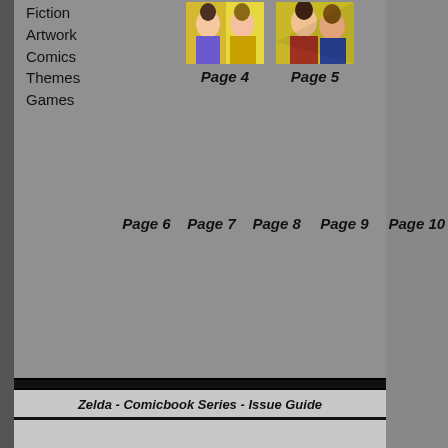Fiction
Artwork
Comics
Themes
Games
[Figure (illustration): Anime-style comic thumbnail illustration - Page 4]
Page 4
[Figure (illustration): Anime-style comic thumbnail illustration - Page 5]
Page 5
Page 6
Page 7
Page 8
Page 9
Page 10
Affi
Zelda - Comicbook Series - Issue Guide